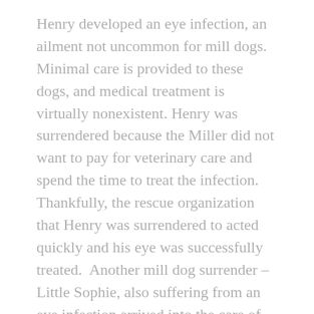Henry developed an eye infection, an ailment not uncommon for mill dogs.  Minimal care is provided to these dogs, and medical treatment is virtually nonexistent. Henry was surrendered because the Miller did not want to pay for veterinary care and spend the time to treat the infection.  Thankfully, the rescue organization that Henry was surrendered to acted quickly and his eye was successfully treated.  Another mill dog surrender – Little Sophie, also suffering from an eye infection arrived into the care of the rescue too late for treatment and her eye had to be removed.
Reese's story though heartbreaking, does have a happy ending.  Many mill dogs spend their entire living in squalor in these barns. The cages are stacked in rows on top of each other. Drop-pans are used to collect waste from the dogs as they are not granted the luxury